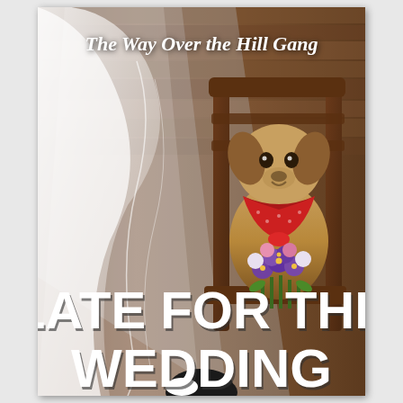[Figure (illustration): Book cover for 'Late for the Wedding' by The Way Over the Hill Gang. Shows a small dog (Chihuahua mix) wearing a red bandana and holding a bouquet of purple and pink flowers, sitting on a wooden chair in front of a log cabin wall. A white wedding veil drapes across the left side of the image. At the top in white cursive text: 'The Way Over the Hill Gang'. In the lower portion, large white block letters read 'LATE FOR THE WEDDING'. A black and white cat is partially visible at the very bottom.]